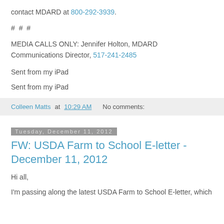contact MDARD at 800-292-3939.
# # #
MEDIA CALLS ONLY: Jennifer Holton, MDARD Communications Director, 517-241-2485
Sent from my iPad
Sent from my iPad
Colleen Matts at 10:29 AM   No comments:
Tuesday, December 11, 2012
FW: USDA Farm to School E-letter - December 11, 2012
Hi all,
I'm passing along the latest USDA Farm to School E-letter, which